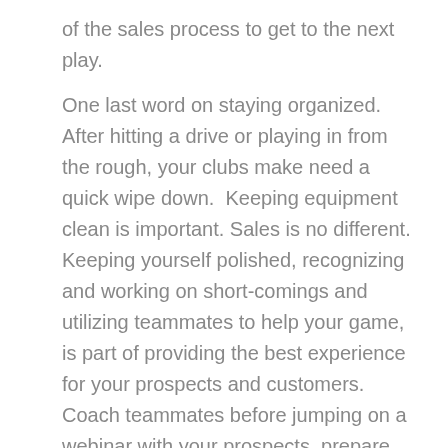of the sales process to get to the next play.
One last word on staying organized.  After hitting a drive or playing in from the rough, your clubs make need a quick wipe down.  Keeping equipment clean is important. Sales is no different.  Keeping yourself polished, recognizing and working on short-comings and utilizing teammates to help your game, is part of providing the best experience for your prospects and customers.  Coach teammates before jumping on a webinar with your prospects, prepare team members to know who will be on the call, what is most important to them and the outcome you are all working for.